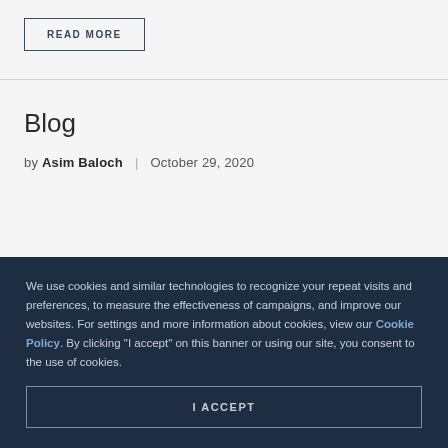READ MORE
Blog
by Asim Baloch   October 29, 2020
We use cookies and similar technologies to recognize your repeat visits and preferences, to measure the effectiveness of campaigns, and improve our websites. For settings and more information about cookies, view our Cookie Policy. By clicking "I accept" on this banner or using our site, you consent to the use of cookies.
I ACCEPT